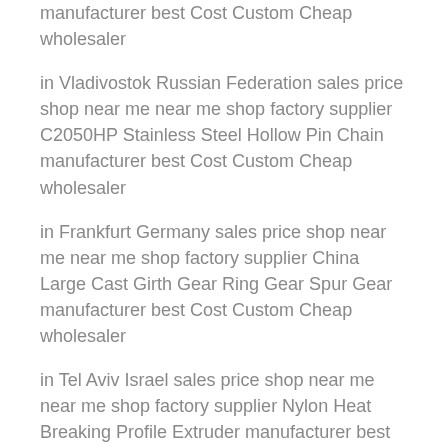manufacturer best Cost Custom Cheap wholesaler
in Vladivostok Russian Federation sales price shop near me near me shop factory supplier C2050HP Stainless Steel Hollow Pin Chain manufacturer best Cost Custom Cheap wholesaler
in Frankfurt Germany sales price shop near me near me shop factory supplier China Large Cast Girth Gear Ring Gear Spur Gear manufacturer best Cost Custom Cheap wholesaler
in Tel Aviv Israel sales price shop near me near me shop factory supplier Nylon Heat Breaking Profile Extruder manufacturer best Cost Custom Cheap wholesaler
in Chicago United States sales price shop near me near me shop factory supplier China CNC Fiber Metal Tube Laser Cutting Machine Manufacturer manufacturer best Cost Custom Cheap wholesaler
in Mogadishu Somalia sales price shop near me near